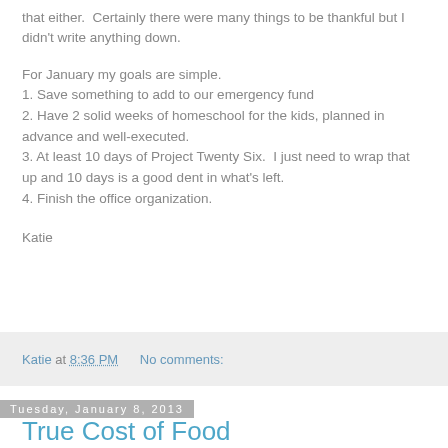that either.  Certainly there were many things to be thankful but I didn't write anything down.
For January my goals are simple.
1. Save something to add to our emergency fund
2. Have 2 solid weeks of homeschool for the kids, planned in advance and well-executed.
3. At least 10 days of Project Twenty Six.  I just need to wrap that up and 10 days is a good dent in what's left.
4. Finish the office organization.
Katie
Katie at 8:36 PM    No comments:
Tuesday, January 8, 2013
True Cost of Food